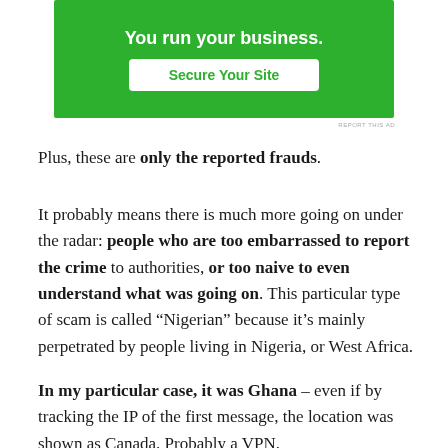[Figure (screenshot): Green advertisement banner with white bold text 'You run your business.' and a white button with green text 'Secure Your Site']
REPORT THIS AD
Plus, these are only the reported frauds.
It probably means there is much more going on under the radar: people who are too embarrassed to report the crime to authorities, or too naive to even understand what was going on. This particular type of scam is called “Nigerian” because it’s mainly perpetrated by people living in Nigeria, or West Africa.
In my particular case, it was Ghana – even if by tracking the IP of the first message, the location was shown as Canada. Probably a VPN.